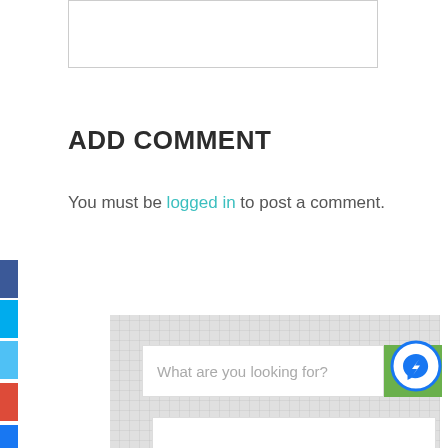[Figure (screenshot): Top image placeholder — white rectangle with gray border]
ADD COMMENT
You must be logged in to post a comment.
[Figure (screenshot): Search widget area with grid background, search bar with placeholder 'What are you looking for?', green search button with magnifying glass icon, and Facebook Messenger circle icon to the right. Below the search bar is a white content area.]